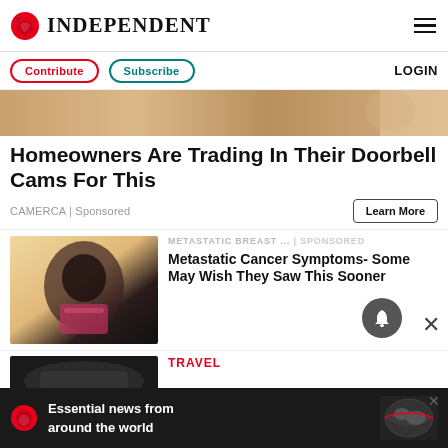INDEPENDENT
Contribute | Subscribe | LOGIN
[Figure (photo): Partial hero image showing a person, sandy/warm tones background]
Homeowners Are Trading In Their Doorbell Cams For This
CAMERCA | Sponsored
Learn More
[Figure (photo): Woman in pink sports bra holding her chest, warm beige background]
METASTATIC BREAST ... | Sponsored
Metastatic Cancer Symptoms- Some May Wish They Saw This Sooner
[Figure (photo): Dark image at bottom, partial car/vehicle visible]
TRAVEL
Essential news from around the world